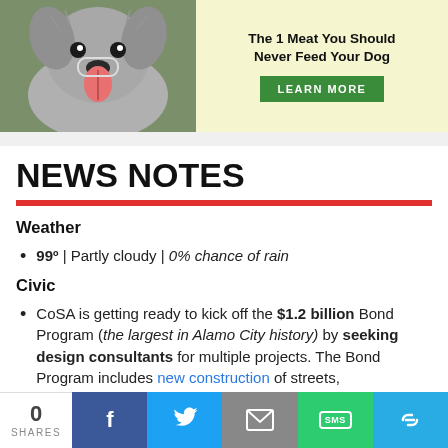[Figure (photo): Advertisement banner showing a dog photo on the left and text 'The 1 Meat You Should Never Feed Your Dog' with a green LEARN MORE button on a yellow background]
NEWS NOTES
Weather
99º | Partly cloudy | 0% chance of rain
Civic
CoSA is getting ready to kick off the $1.2 billion Bond Program (the largest in Alamo City history) by seeking design consultants for multiple projects. The Bond Program includes new construction of streets,
0 SHARES | Facebook | Twitter | Email | SMS | Link